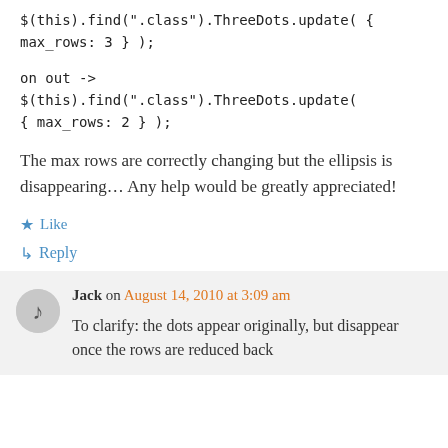$(this).find(".class").ThreeDots.update( { max_rows: 3 } );
on out -> $(this).find(".class").ThreeDots.update( { max_rows: 2 } );
The max rows are correctly changing but the ellipsis is disappearing… Any help would be greatly appreciated!
★ Like
↳ Reply
Jack on August 14, 2010 at 3:09 am
To clarify: the dots appear originally, but disappear once the rows are reduced back